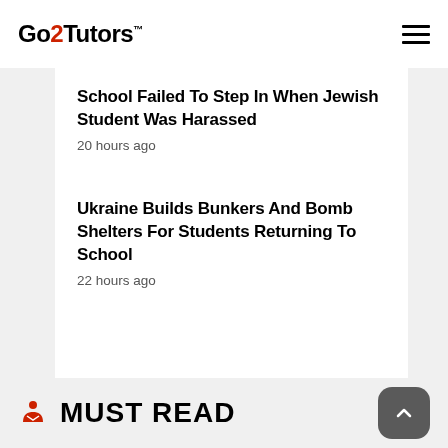Go2Tutors™
School Failed To Step In When Jewish Student Was Harassed
20 hours ago
Ukraine Builds Bunkers And Bomb Shelters For Students Returning To School
22 hours ago
MUST READ